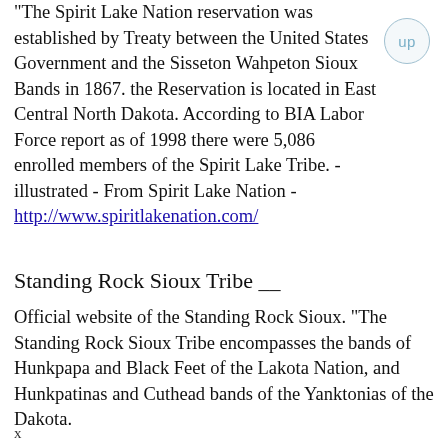"The Spirit Lake Nation reservation was established by Treaty between the United States Government and the Sisseton Wahpeton Sioux Bands in 1867. the Reservation is located in East Central North Dakota. According to BIA Labor Force report as of 1998 there were 5,086 enrolled members of the Spirit Lake Tribe. - illustrated - From Spirit Lake Nation - http://www.spiritlakenation.com/
Standing Rock Sioux Tribe __
Official website of the Standing Rock Sioux. "The Standing Rock Sioux Tribe encompasses the bands of Hunkpapa and Black Feet of the Lakota Nation, and Hunkpatinas and Cuthead bands of the Yanktonias of the Dakota.
x